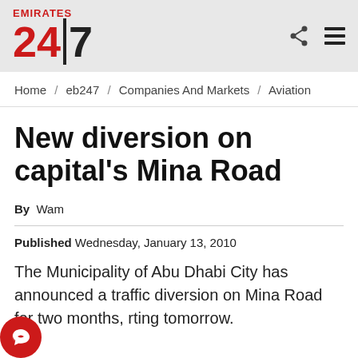[Figure (logo): Emirates 24|7 news logo with red 24 and black 7]
Home / eb247 / Companies And Markets / Aviation
New diversion on capital's Mina Road
By  Wam
Published Wednesday, January 13, 2010
The Municipality of Abu Dhabi City has announced a traffic diversion on Mina Road for two months, starting tomorrow.